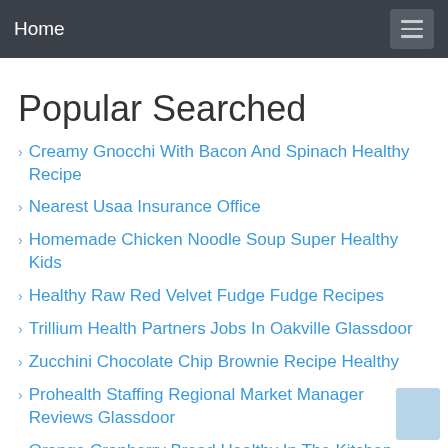Home
Popular Searched
Creamy Gnocchi With Bacon And Spinach Healthy Recipe
Nearest Usaa Insurance Office
Homemade Chicken Noodle Soup Super Healthy Kids
Healthy Raw Red Velvet Fudge Fudge Recipes
Trillium Health Partners Jobs In Oakville Glassdoor
Zucchini Chocolate Chip Brownie Recipe Healthy
Prohealth Staffing Regional Market Manager Reviews Glassdoor
Orange Cranberry Bread Healthy In The Kitchen